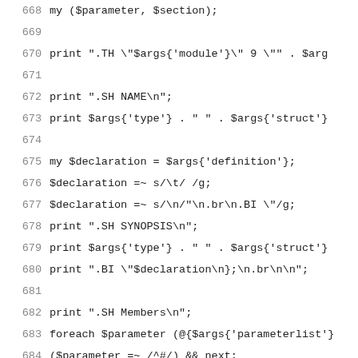668    my ($parameter, $section);
669
670        print ".TH \"$args{'module'}\" 9 \"" . $arg
671
672        print ".SH NAME\n";
673        print $args{'type'} . " " . $args{'struct'}
674
675        my $declaration = $args{'definition'};
676        $declaration =~ s/\t/  /g;
677        $declaration =~ s/\n/"\n.br\n.BI \"/g;
678        print ".SH SYNOPSIS\n";
679        print $args{'type'} . " " . $args{'struct'}
680        print ".BI \"$declaration\n};\n.br\n\n";
681
682        print ".SH Members\n";
683        foreach $parameter (@{$args{'parameterlist'}'
684            ($parameter =~ /^#/) && next;
685
686            my $parameter_name = $parameter;
687            $parameter_name =~ s/\[.*//;
688
689            ($args{'parameterdescs'}{$parameter_nam